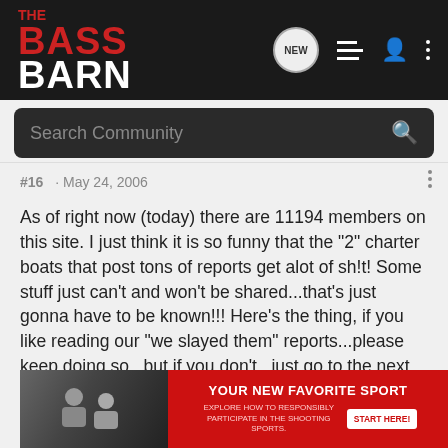THE BASS BARN — Search Community
#16 · May 24, 2006
As of right now (today) there are 11194 members on this site. I just think it is so funny that the "2" charter boats that post tons of reports get alot of sh!t! Some stuff just can't and won't be shared...that's just gonna have to be known!!! Here's the thing, if you like reading our "we slayed them" reports...please keep doing so...but if you don't...just go to the next topic...it's really that simple. I don't mean any disrespect, but on the other hand...I don't want to be disrespected either! These operations are fulltime, and alot of thought and blood and sweat goes into each trip everyday...some might think that we are just taking people t... 3-4hrs going ov... oo. It's alot f...
[Figure (photo): Advertisement banner: YOUR NEW FAVORITE SPORT — EXPLORE HOW TO RESPONSIBLY PARTICIPATE IN THE SHOOTING SPORTS. START HERE! with a photo of people on the left side.]